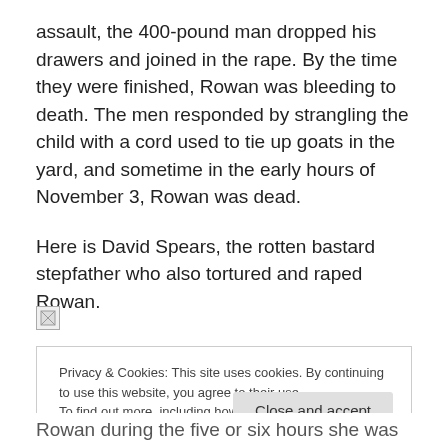assault, the 400-pound man dropped his drawers and joined in the rape. By the time they were finished, Rowan was bleeding to death. The men responded by strangling the child with a cord used to tie up goats in the yard, and sometime in the early hours of November 3, Rowan was dead.
Here is David Spears, the rotten bastard stepfather who also tortured and raped Rowan.
[Figure (photo): Broken image placeholder icon (image failed to load)]
Privacy & Cookies: This site uses cookies. By continuing to use this website, you agree to their use.
To find out more, including how to control cookies, see here: Cookie Policy
Rowan during the five or six hours she was at the home.